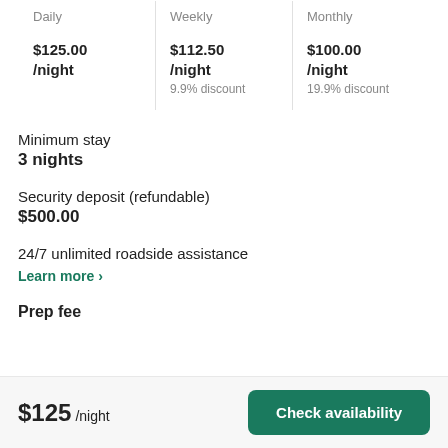| Daily | Weekly | Monthly |
| --- | --- | --- |
| $125.00
/night | $112.50
/night
9.9% discount | $100.00
/night
19.9% discount |
Minimum stay
3 nights
Security deposit (refundable)
$500.00
24/7 unlimited roadside assistance
Learn more >
Prep fee
$125 /night
Check availability